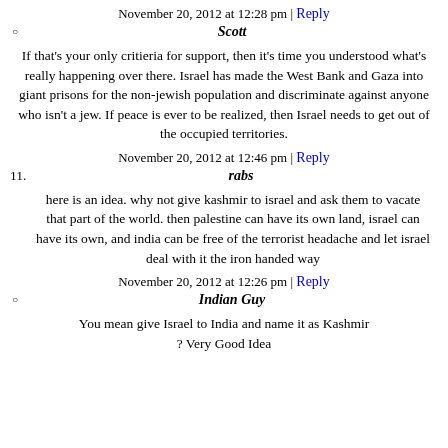November 20, 2012 at 12:28 pm | Reply
Scott
If that's your only critieria for support, then it's time you understood what's really happening over there. Israel has made the West Bank and Gaza into giant prisons for the non-jewish population and discriminate against anyone who isn't a jew. If peace is ever to be realized, then Israel needs to get out of the occupied territories.
November 20, 2012 at 12:46 pm | Reply
11. rabs
here is an idea. why not give kashmir to israel and ask them to vacate that part of the world. then palestine can have its own land, israel can have its own, and india can be free of the terrorist headache and let israel deal with it the iron handed way
November 20, 2012 at 12:26 pm | Reply
Indian Guy
You mean give Israel to India and name it as Kashmir ? Very Good Idea